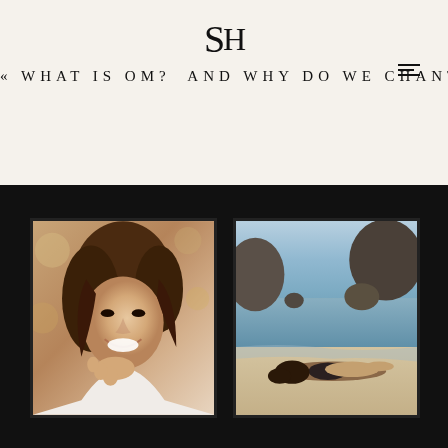SH
« WHAT IS OM? AND WHY DO WE CHANT IT?
[Figure (photo): Portrait of a smiling young woman with dark hair, resting her chin on her hand, outdoor bokeh background]
[Figure (photo): Person lying on a beach with large rocks and ocean in the background]